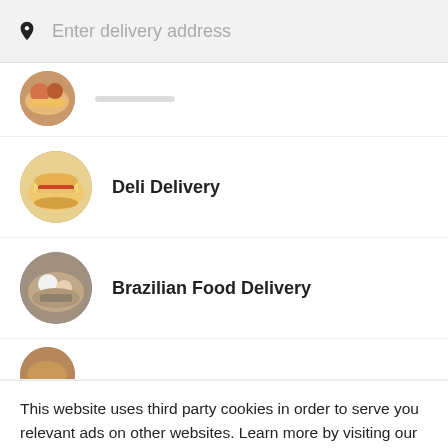Enter delivery address
[Figure (photo): Partial circular food image at top of list]
Deli Delivery
Brazilian Food Delivery
[Figure (photo): Partial circular food image at bottom of list]
This website uses third party cookies in order to serve you relevant ads on other websites. Learn more by visiting our Cookie Statement, or opt out of third party ad cookies using the button below.
OPT OUT
GOT IT